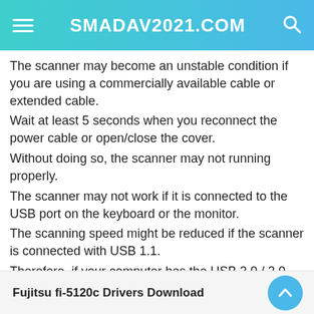SMADAV2021.COM
The scanner may become an unstable condition if you are using a commercially available cable or extended cable.
Wait at least 5 seconds when you reconnect the power cable or open/close the cover.
Without doing so, the scanner may not running properly.
The scanner may not work if it is connected to the USB port on the keyboard or the monitor.
The scanning speed might be reduced if the scanner is connected with USB 1.1.
Therefore, if your computer has the USB 3.0 / 2.0 compatible port, please use it.
Fujitsu fi-5120c Drivers Download